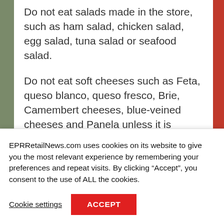Do not eat salads made in the store, such as ham salad, chicken salad, egg salad, tuna salad or seafood salad.
Do not eat soft cheeses such as Feta, queso blanco, queso fresco, Brie, Camembert cheeses, blue-veined cheeses and Panela unless it is labeled as made with pasteurized milk.
Use precooked or ready-to-eat food as soon as you can. Listeria can grow in the
EPRRetailNews.com uses cookies on its website to give you the most relevant experience by remembering your preferences and repeat visits. By clicking “Accept”, you consent to the use of ALL the cookies.
Cookie settings
ACCEPT